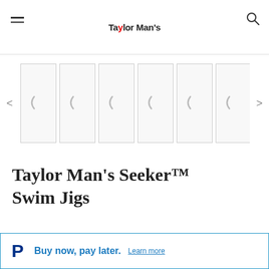Taylor Man's
[Figure (screenshot): Product image carousel with 7 thumbnail slots showing loading spinners and left/right navigation arrows]
Taylor Man's Seeker™ Swim Jigs
$5.54
Buy now, pay later. Learn more